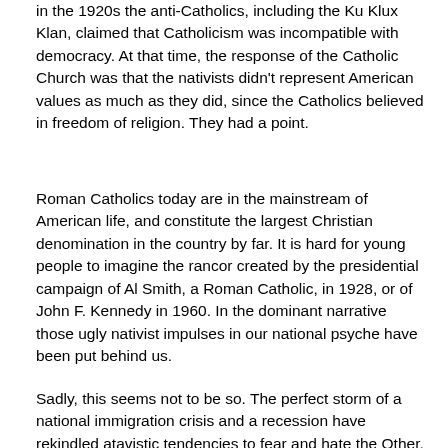in the 1920s the anti-Catholics, including the Ku Klux Klan, claimed that Catholicism was incompatible with democracy. At that time, the response of the Catholic Church was that the nativists didn't represent American values as much as they did, since the Catholics believed in freedom of religion. They had a point.
Roman Catholics today are in the mainstream of American life, and constitute the largest Christian denomination in the country by far. It is hard for young people to imagine the rancor created by the presidential campaign of Al Smith, a Roman Catholic, in 1928, or of John F. Kennedy in 1960. In the dominant narrative those ugly nativist impulses in our national psyche have been put behind us.
Sadly, this seems not to be so. The perfect storm of a national immigration crisis and a recession have rekindled atavistic tendencies to fear and hate the Other. In the case